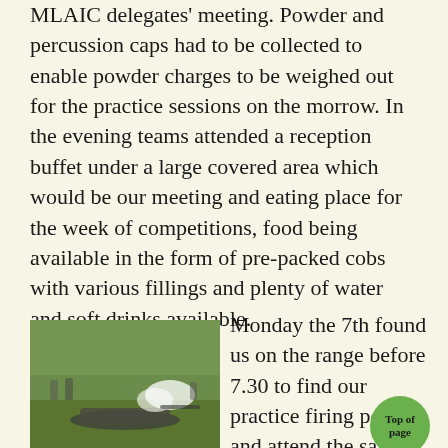MLAIC delegates' meeting. Powder and percussion caps had to be collected to enable powder charges to be weighed out for the practice sessions on the morrow. In the evening teams attended a reception buffet under a large covered area which would be our meeting and eating place for the week of competitions, food being available in the form of pre-packed cobs with various fillings and plenty of water and soft drinks available.
[Figure (photo): Outdoor shooting range scene showing a person firing a muzzle-loading rifle on a grassy field, with smoke visible from the discharge.]
Joh...
Monday the 7th found us on the range before 7.30 to find our practice firing poi and attend the safety